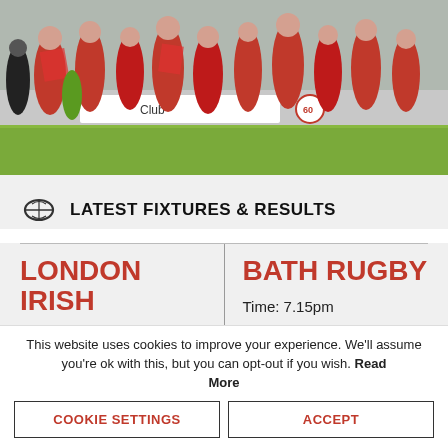[Figure (photo): Rugby players in red jerseys running on a pitch, celebrating or entering the field. Crowd and advertising boards visible in background.]
LATEST FIXTURES & RESULTS
LONDON IRISH
Time: 3pm
BATH RUGBY
Time: 7.15pm
This website uses cookies to improve your experience. We'll assume you're ok with this, but you can opt-out if you wish. Read More
COOKIE SETTINGS
ACCEPT